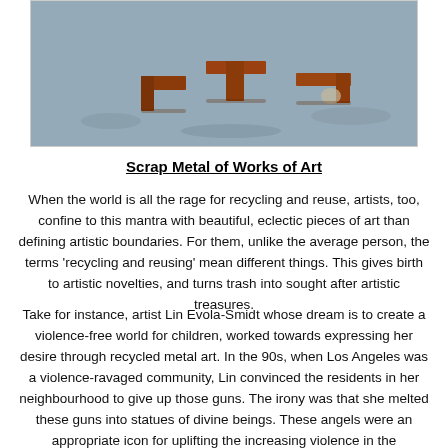[Figure (photo): Photo of rust-colored scrap metal pieces arranged on a gray surface, partially cropped at top]
Scrap Metal of Works of Art
When the world is all the rage for recycling and reuse, artists, too, confine to this mantra with beautiful, eclectic pieces of art than defining artistic boundaries. For them, unlike the average person, the terms ‘recycling and reusing’ mean different things. This gives birth to artistic novelties, and turns trash into sought after artistic treasures.
Take for instance, artist Lin Evola-Smidt whose dream is to create a violence-free world for children, worked towards expressing her desire through recycled metal art. In the 90s, when Los Angeles was a violence-ravaged community, Lin convinced the residents in her neighbourhood to give up those guns. The irony was that she melted these guns into statues of divine beings. These angels were an appropriate icon for uplifting the increasing violence in the community and also served as a reminder to those with Lost Angeles that it was, after all, the city of angels. She